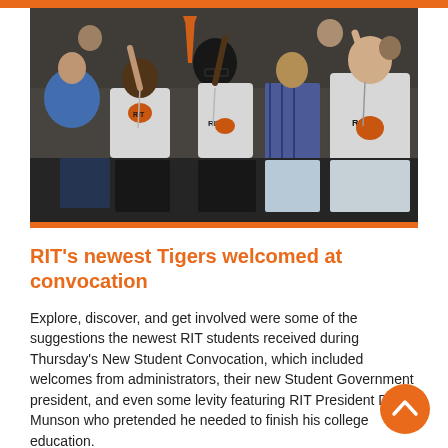[Figure (photo): Group of enthusiastic students in RIT (Rochester Institute of Technology) t-shirts cheering and raising their arms at a New Student Convocation event. Several students wear white RIT tiger logo shirts and lanyards.]
RIT’s newest Tigers welcomed at convocation
Explore, discover, and get involved were some of the suggestions the newest RIT students received during Thursday’s New Student Convocation, which included welcomes from administrators, their new Student Government president, and even some levity featuring RIT President David Munson who pretended he needed to finish his college education.